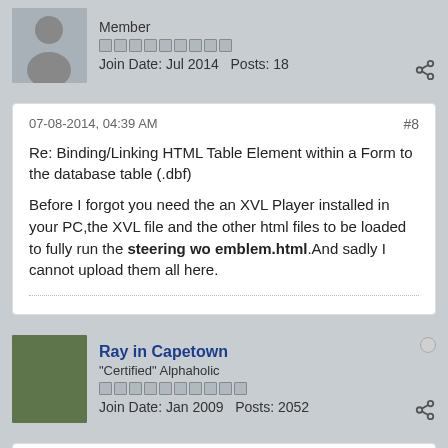Member
Join Date: Jul 2014   Posts: 18
07-08-2014, 04:39 AM
#8
Re: Binding/Linking HTML Table Element within a Form to the database table (.dbf)
Before I forgot you need the an XVL Player installed in your PC,the XVL file and the other html files to be loaded to fully run the steering wo emblem.html.And sadly I cannot upload them all here.
Ray in Capetown
"Certified" Alphaholic
Join Date: Jan 2009   Posts: 2052
07-08-2014, 09:22 AM
#9
Re: Binding/Linking HTML Table Element within a Form to the database table (.dbf)